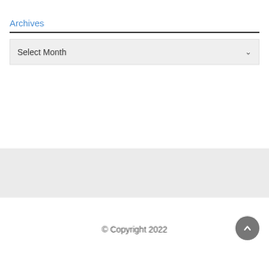Archives
[Figure (screenshot): A dropdown select box with 'Select Month' placeholder text and a down chevron arrow]
© Copyright 2022